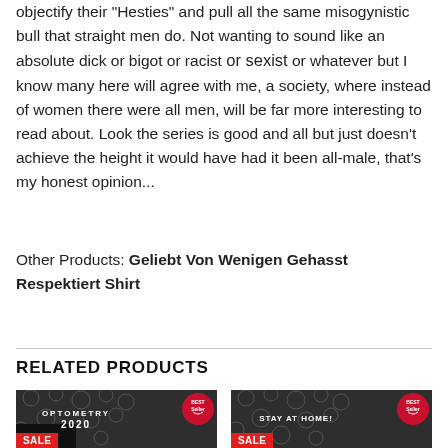objectify their "Hesties" and pull all the same misogynistic bull that straight men do. Not wanting to sound like an absolute dick or bigot or racist or sexist or whatever but I know many here will agree with me, a society, where instead of women there were all men, will be far more interesting to read about. Look the series is good and all but just doesn't achieve the height it would have had it been all-male, that's my honest opinion...
Other Products: Geliebt Von Wenigen Gehasst Respektiert Shirt
RELATED PRODUCTS
[Figure (photo): Black t-shirt with 'OPTOMETRY 2020' text, SALE badge in red at bottom left, BEST SELLER badge at top right, soccer ball background]
[Figure (photo): Black t-shirt with 'STAY AT HOME!' text, SALE badge in red at bottom left, BEST SELLER badge at top right, soccer ball background]